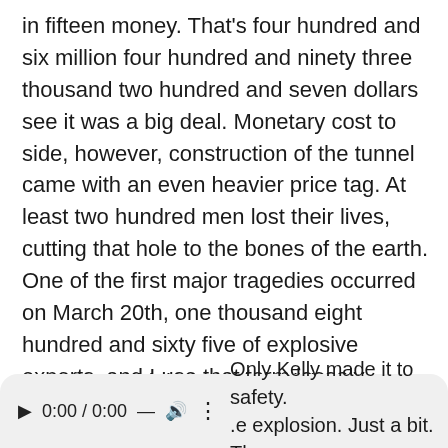in fifteen money. That's four hundred and six million four hundred and ninety three thousand two hundred and seven dollars see it was a big deal. Monetary cost to side, however, construction of the tunnel came with an even heavier price tag. At least two hundred men lost their lives, cutting that hole to the bones of the earth. One of the first major tragedies occurred on March 20th, one thousand eight hundred and sixty five of explosive experts, and I use that term loosely because nitroglycerine had just spend introduced to Amerika about a year before entered the tunnel to plant the charge, the three men, Brigman NASH and Kelly, who, by the way his first name was Ringo, which I think has
Awesome did their work and then ran back down the
Only Kelly made it to safety. .e explosion. Just a bit. The